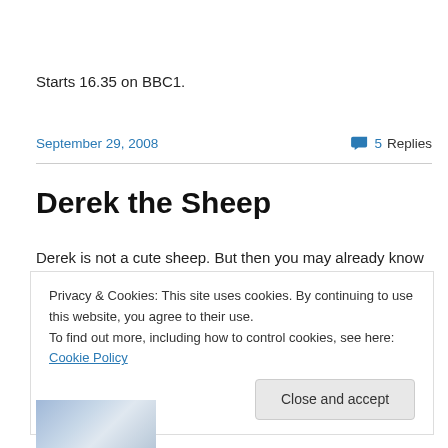Starts 16.35 on BBC1.
September 29, 2008   💬 5 Replies
Derek the Sheep
Derek is not a cute sheep. But then you may already know
Privacy & Cookies: This site uses cookies. By continuing to use this website, you agree to their use.
To find out more, including how to control cookies, see here: Cookie Policy
Close and accept
[Figure (illustration): Partial illustration showing bottom of a cartoon sheep character]